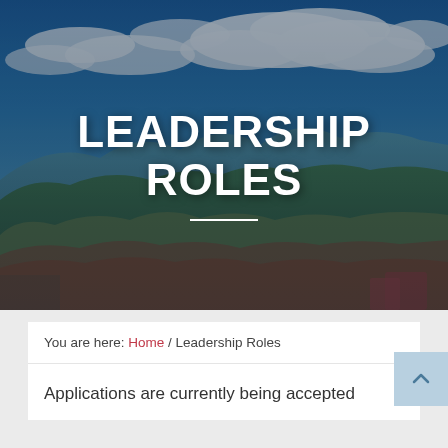[Figure (photo): Aerial landscape photo showing mountains covered in autumn foliage with blue sky and white clouds in the background. Used as hero banner background.]
LEADERSHIP ROLES
You are here: Home / Leadership Roles
Applications are currently being accepted